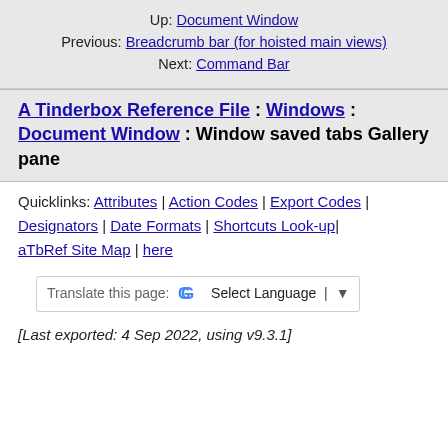Up: Document Window
Previous: Breadcrumb bar (for hoisted main views)
Next: Command Bar
A Tinderbox Reference File : Windows : Document Window : Window saved tabs Gallery pane
Quicklinks: Attributes | Action Codes | Export Codes | Designators | Date Formats | Shortcuts Look-up| aTbRef Site Map | here
[Figure (other): Google Translate widget: 'Translate this page: G Select Language ▼']
[Last exported: 4 Sep 2022, using v9.3.1]